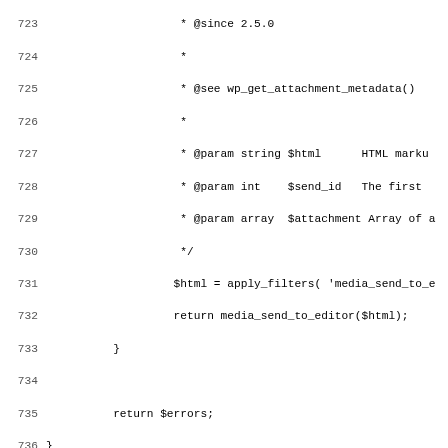[Figure (screenshot): Source code listing showing PHP WordPress code, lines 723-755, including a docblock comment and function wp_media_upload_handler() definition with variable initialization and conditional logic.]